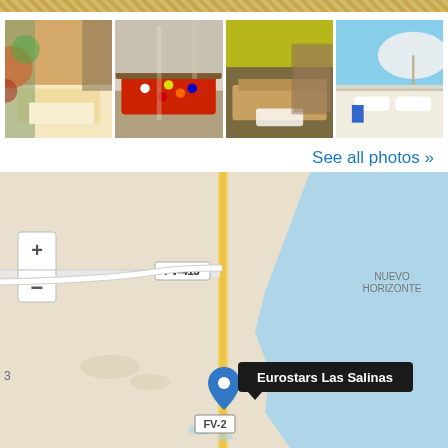[Figure (photo): Hotel room with double bed and decorative wall]
[Figure (photo): Game room with billiard/pool table]
[Figure (photo): Spa or sauna room with wooden bench]
[Figure (photo): Outdoor terrace with lounge chairs and umbrella]
See all photos »
[Figure (map): Map showing location of Eurostars Las Salinas hotel near Caleta de Fuste, Fuerteventura, with road labels FV-413, FV-2 and area label Nuevo Horizonte. Blue location pin marks the hotel.]